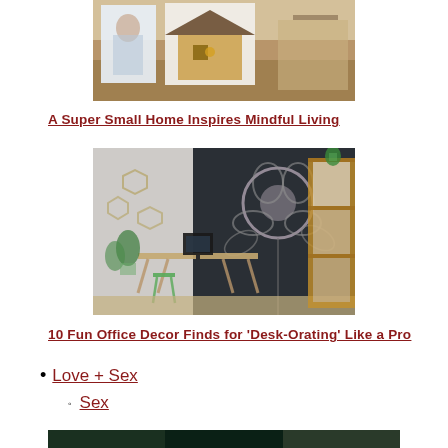[Figure (photo): Photo of artwork/illustrations propped on a wooden surface, including a watercolor portrait and a house illustration]
A Super Small Home Inspires Mindful Living
[Figure (photo): Photo of a home office/workspace with a chalkboard wall painted with large floral designs, a desk with trestle legs, a green metal stool, plants, and a wooden crate shelf]
10 Fun Office Decor Finds for 'Desk-Orating' Like a Pro
Love + Sex
Sex
[Figure (photo): Partial photo at bottom of page, green and dark tones]